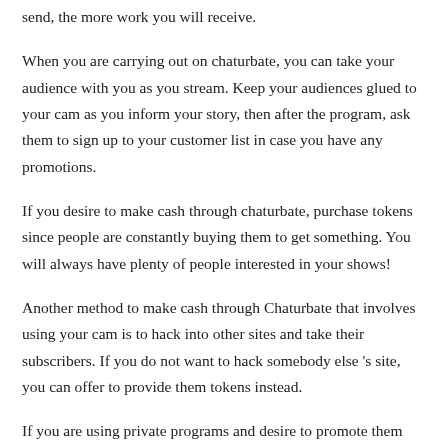send, the more work you will receive.
When you are carrying out on chaturbate, you can take your audience with you as you stream. Keep your audiences glued to your cam as you inform your story, then after the program, ask them to sign up to your customer list in case you have any promotions.
If you desire to make cash through chaturbate, purchase tokens since people are constantly buying them to get something. You will always have plenty of people interested in your shows!
Another method to make cash through Chaturbate that involves using your cam is to hack into other sites and take their subscribers. If you do not want to hack somebody else 's site, you can offer to provide them tokens instead.
If you are using private programs and desire to promote them more, you can ask your audiences to help advertise for you. You